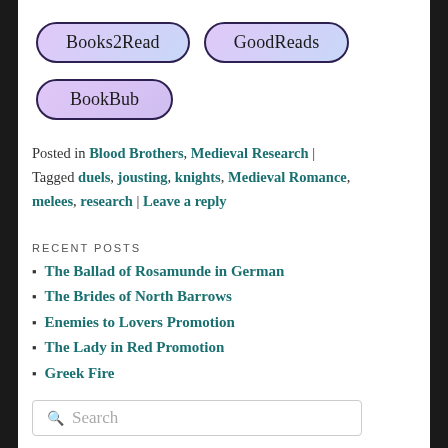[Figure (other): Two pill-shaped buttons labeled 'Books2Read' and 'GoodReads' with purple gradient background and dark border]
[Figure (other): One pill-shaped button labeled 'BookBub' with purple gradient background and dark border]
Posted in Blood Brothers, Medieval Research | Tagged duels, jousting, knights, Medieval Romance, melees, research | Leave a reply
RECENT POSTS
The Ballad of Rosamunde in German
The Brides of North Barrows
Enemies to Lovers Promotion
The Lady in Red Promotion
Greek Fire
Search